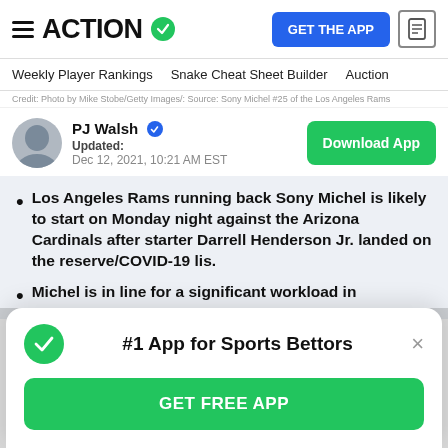ACTION (logo with checkmark) | GET THE APP | document icon
Weekly Player Rankings | Snake Cheat Sheet Builder | Auction
Credit: Photo by Mike Stobe/Getty Images/: Source: Sony Michel #25 of the Los Angeles Rams
PJ Walsh ✓ Updated: Dec 12, 2021, 10:21 AM EST
Download App
Los Angeles Rams running back Sony Michel is likely to start on Monday night against the Arizona Cardinals after starter Darrell Henderson Jr. landed on the reserve/COVID-19 lis.
Michel is in line for a significant workload in
#1 App for Sports Bettors | GET FREE APP